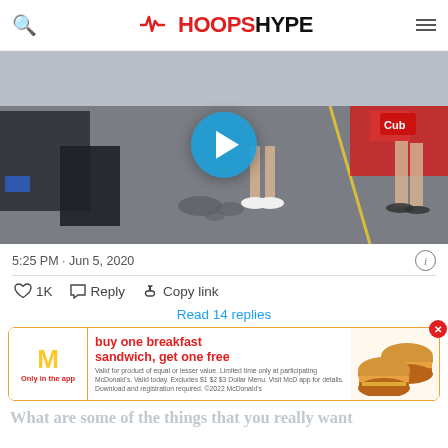HoopsHype
[Figure (screenshot): Video thumbnail showing an outdoor parking lot scene with people's legs visible, a play button circle overlaid in blue in the center, suggesting an embedded video player.]
5:25 PM · Jun 5, 2020
♡ 1K  Reply  Copy link
Read 14 replies
[Figure (infographic): McDonald's advertisement banner: buy one breakfast sandwich, get one free. Only in the app. Shows McDonald's golden arches logo and image of two McMuffin sandwiches. Fine print: Valid for product of equal or lesser value. Limited time only at participating McDonald's. Valid today. Excludes $1 $2 $3 Dollar Menu. Visit McD app for details. Download and registration required. ©2022 McDonald's]
What are some of the things that you really want